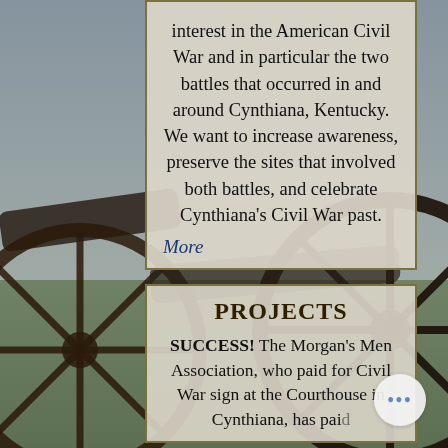[Figure (photo): Background photograph of Civil War era cannons on a battlefield field, with large wooden-spoked wheels visible prominently on the right side and left, green grass and overcast sky in background.]
interest in the American Civil War and in particular the two battles that occurred in and around Cynthiana, Kentucky. We want to increase awareness, preserve the sites that involved both battles, and celebrate Cynthiana's Civil War past.
More
Projects
SUCCESS! The Morgan's Men Association, who paid for Civil War sign at the Courthouse in Cynthiana, has paid a